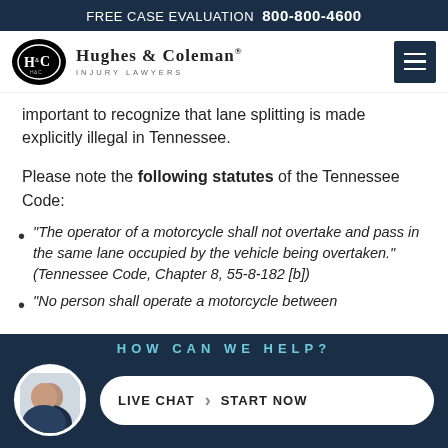FREE CASE EVALUATION  800-800-4600
[Figure (logo): Hughes & Coleman Injury Lawyers logo with oval emblem]
important to recognize that lane splitting is made explicitly illegal in Tennessee.
Please note the following statutes of the Tennessee Code:
“The operator of a motorcycle shall not overtake and pass in the same lane occupied by the vehicle being overtaken.” (Tennessee Code, Chapter 8, 55-8-182 [b])
“No person shall operate a motorcycle between
HOW CAN WE HELP?  LIVE CHAT  START NOW